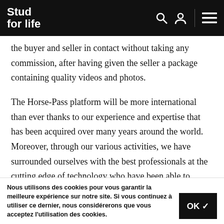Stud for life
the buyer and seller in contact without taking any commission, after having given the seller a package containing quality videos and photos.
The Horse-Pass platform will be more international than ever thanks to our experience and expertise that has been acquired over many years around the world. Moreover, through our various activities, we have surrounded ourselves with the best professionals at the cutting edge of technology who have been able to develop a state-of-the-art platform, which is undoubtedly ahead of its time. It will be a real online … Asia, the … de … current offerings, as we will not only offer top level horse
Nous utilisons des cookies pour vous garantir la meilleure expérience sur notre site. Si vous continuez à utiliser ce dernier, nous considérerons que vous acceptez l'utilisation des cookies.